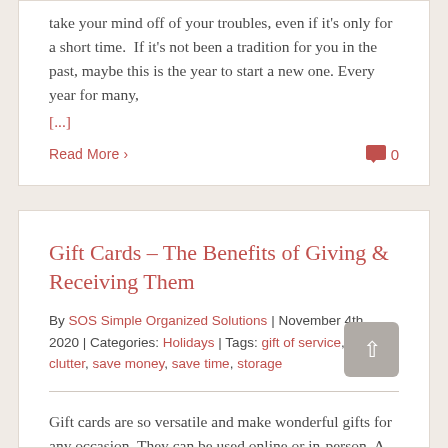take your mind off of your troubles, even if it's only for a short time.  If it's not been a tradition for you in the past, maybe this is the year to start a new one. Every year for many, [...]
Read More >    0
Gift Cards – The Benefits of Giving & Receiving Them
By SOS Simple Organized Solutions | November 4th, 2020 | Categories: Holidays | Tags: gift of service, prevent clutter, save money, save time, storage
Gift cards are so versatile and make wonderful gifts for any occasion. They can be used online or in-person. A lot of businesses also allow for purchasing them online as